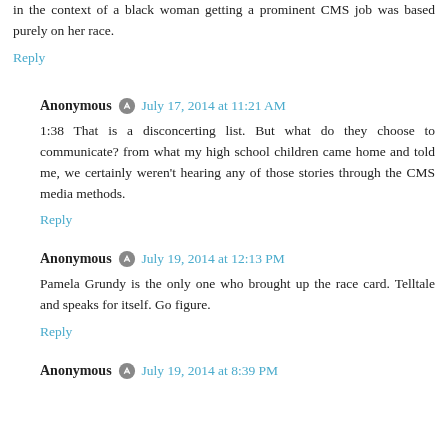in the context of a black woman getting a prominent CMS job was based purely on her race.
Reply
Anonymous · July 17, 2014 at 11:21 AM
1:38 That is a disconcerting list. But what do they choose to communicate? from what my high school children came home and told me, we certainly weren't hearing any of those stories through the CMS media methods.
Reply
Anonymous · July 19, 2014 at 12:13 PM
Pamela Grundy is the only one who brought up the race card. Telltale and speaks for itself. Go figure.
Reply
Anonymous · July 19, 2014 at 8:39 PM